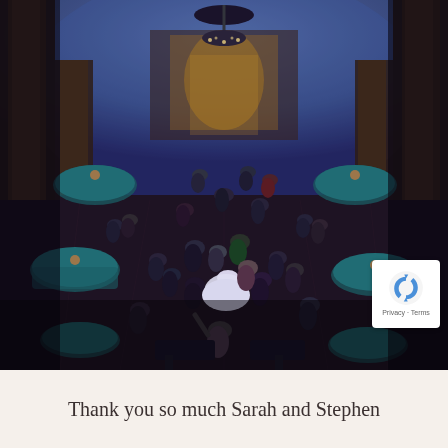[Figure (photo): Aerial/overhead view of a wedding reception in a grand ballroom with large columns and blue lighting. A bride in a white dress is visible on the dance floor surrounded by guests dancing. Round dining tables with teal/turquoise linens are visible around the perimeter. A chandelier hangs from the ceiling in the background.]
Thank you so much Sarah and Stephen